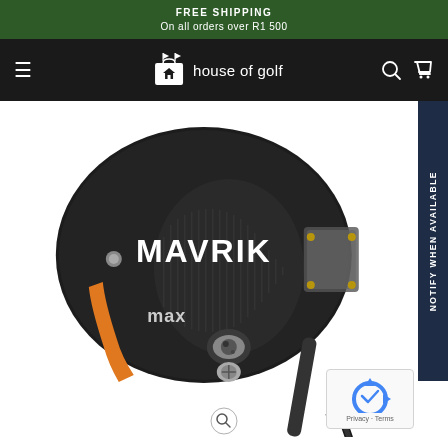FREE SHIPPING
On all orders over R1 500
[Figure (logo): House of Golf website header with hamburger menu, house-of-golf logo (shopping bag with house icon), search icon, and cart icon on dark background]
[Figure (photo): Callaway MAVRIK MAX golf driver club head, top-down view, black with orange accent stripe, silver weight screw, 'MAVRIK' text on face, 'max' text on sole]
NOTIFY WHEN AVAILABLE